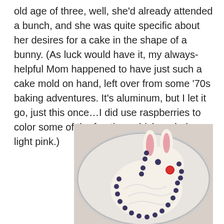old age of three, well, she'd already attended a bunch, and she was quite specific about her desires for a cake in the shape of a bunny. (As luck would have it, my always-helpful Mom happened to have just such a cake mold on hand, left over from some '70s baking adventures. It's aluminum, but I let it go, just this once…I did use raspberries to color some of the frosting, which ended up a light pink.)
[Figure (photo): A bunny-shaped cake on a white decorative plate, covered in white frosting with a red raspberry nose, blueberries outlining the shape, and pink-tinted inner ears.]